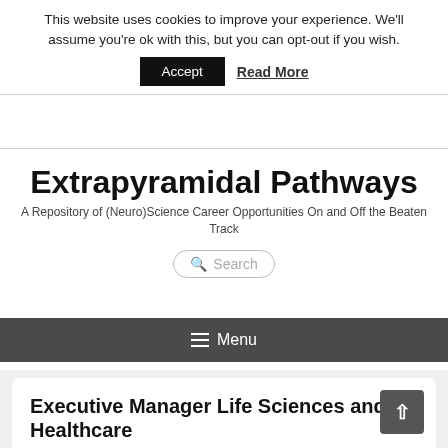This website uses cookies to improve your experience. We'll assume you're ok with this, but you can opt-out if you wish.
Accept   Read More
Extrapyramidal Pathways
A Repository of (Neuro)Science Career Opportunities On and Off the Beaten Track
Search
Menu
Executive Manager Life Sciences and Healthcare